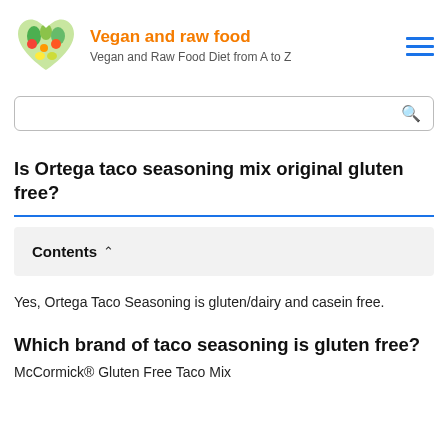Vegan and raw food — Vegan and Raw Food Diet from A to Z
Is Ortega taco seasoning mix original gluten free?
Contents
Yes, Ortega Taco Seasoning is gluten/dairy and casein free.
Which brand of taco seasoning is gluten free?
McCormick® Gluten Free Taco Mix